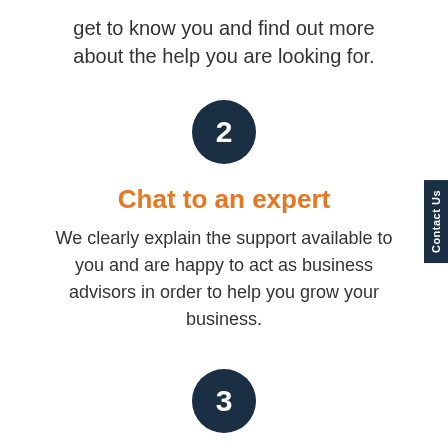get to know you and find out more about the help you are looking for.
[Figure (infographic): Dark navy circle with white number 2]
Chat to an expert
We clearly explain the support available to you and are happy to act as business advisors in order to help you grow your business.
[Figure (infographic): Dark navy circle with white number 3]
Get a fixed quote